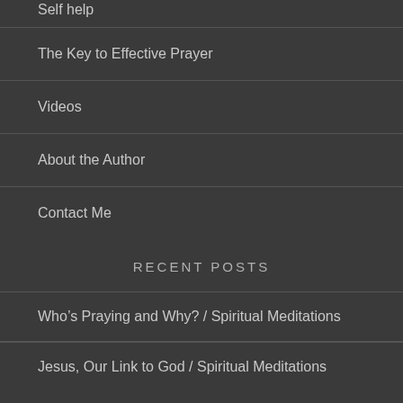Self help
The Key to Effective Prayer
Videos
About the Author
Contact Me
RECENT POSTS
Who's Praying and Why? / Spiritual Meditations
Jesus, Our Link to God / Spiritual Meditations